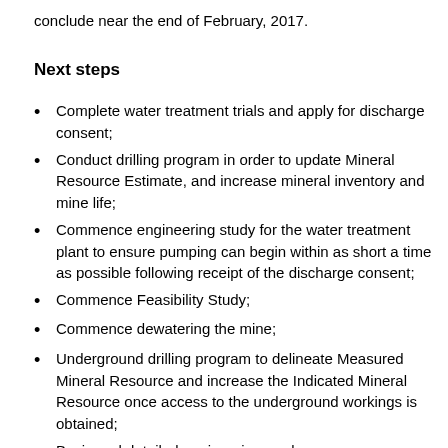conclude near the end of February, 2017.
Next steps
Complete water treatment trials and apply for discharge consent;
Conduct drilling program in order to update Mineral Resource Estimate, and increase mineral inventory and mine life;
Commence engineering study for the water treatment plant to ensure pumping can begin within as short a time as possible following receipt of the discharge consent;
Commence Feasibility Study;
Commence dewatering the mine;
Underground drilling program to delineate Measured Mineral Resource and increase the Indicated Mineral Resource once access to the underground workings is obtained;
Basic and detailed engineering; and
Construction of process plant and underground facilities.